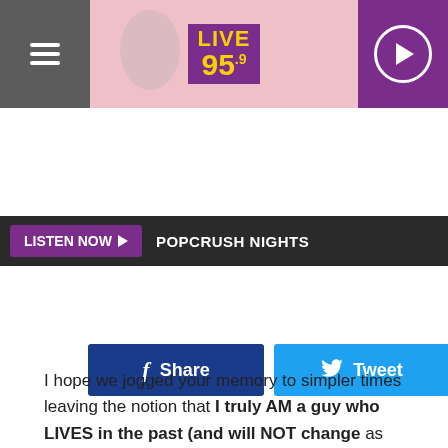[Figure (screenshot): Live 95.9 radio station header with hamburger menu on left, pink banner with Live 95.9 logo in purple badge, and purple play button on right]
LISTEN NOW ▶  POPCRUSH NIGHTS
[Figure (screenshot): Social sharing buttons: Facebook Share button (dark blue) and Twitter Tweet button (light blue)]
I hope we jogged your memory to simpler times leaving the notion that I truly AM a guy who LIVES in the past (and will NOT change as these days keep me going in a world that is